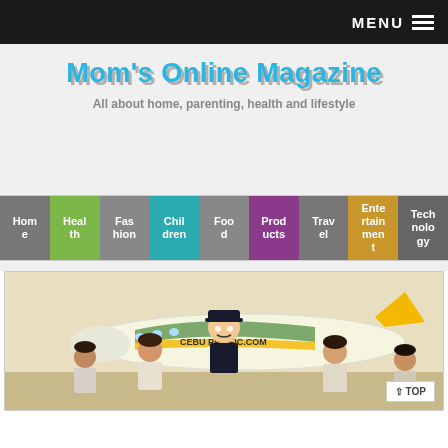MENU
Mom's Online Magazine
All about home, parenting, health and lifestyle
Home
Health
Fashion
Children
Food
Products
Travel
Entertainment
Technology
[Figure (photo): Children and a pilot in front of a Cebu Pacific airplane]